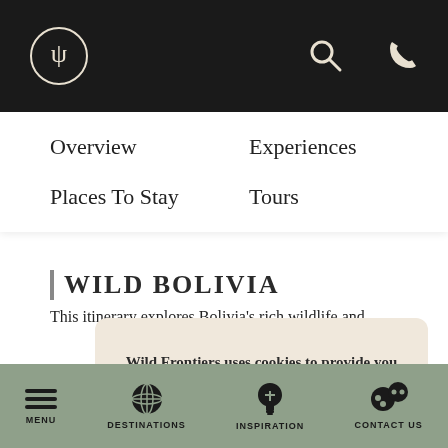Wild Frontiers travel website header with logo, search and phone icons
Overview
Experiences
Places To Stay
Tours
WILD BOLIVIA
This itinerary explores Bolivia's rich wildlife and
Wild Frontiers uses cookies to provide you with a better experience. By continuing to use our site you accept our cookie policy.
MENU | DESTINATIONS | INSPIRATION | CONTACT US